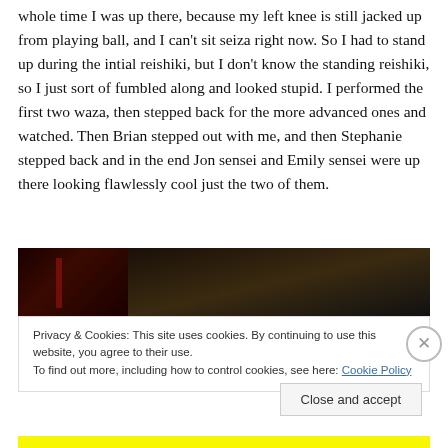whole time I was up there, because my left knee is still jacked up from playing ball, and I can't sit seiza right now. So I had to stand up during the intial reishiki, but I don't know the standing reishiki, so I just sort of fumbled along and looked stupid. I performed the first two waza, then stepped back for the more advanced ones and watched. Then Brian stepped out with me, and then Stephanie stepped back and in the end Jon sensei and Emily sensei were up there looking flawlessly cool just the two of them.
[Figure (photo): Dark photograph, mostly black with a dark reddish element on the left side and faint warm tones on the right.]
Privacy & Cookies: This site uses cookies. By continuing to use this website, you agree to their use.
To find out more, including how to control cookies, see here: Cookie Policy
Close and accept